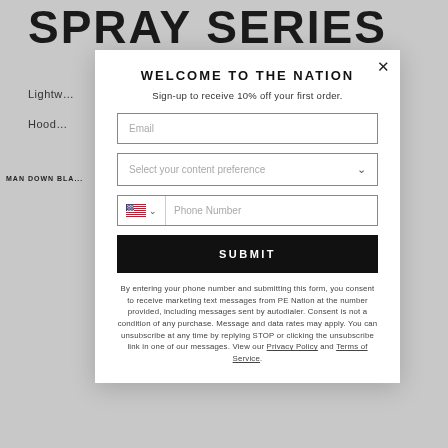SPRAY SERIES
Lightw... | al |
Hood...
MAN DOWN BLA...
WELCOME TO THE NATION
Sign-up to receive 10% off your first order.
Email
Select your content preference
Phone Number
SUBMIT
By entering your phone number and submitting this form, you consent to receive marketing text messages from PE Nation at the number provided, including messages sent by autodialer. Consent is not a condition of any purchase. Message and data rates may apply. You can unsubscribe at any time by replying STOP or clicking the unsubscribe link in one of our messages. View our Privacy Policy and Terms of Service.